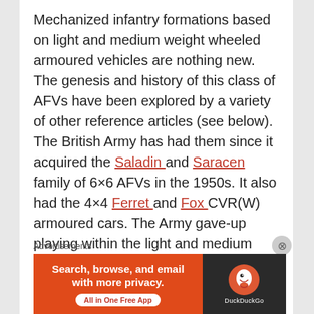Mechanized infantry formations based on light and medium weight wheeled armoured vehicles are nothing new. The genesis and history of this class of AFVs have been explored by a variety of other reference articles (see below). The British Army has had them since it acquired the Saladin and Saracen family of 6×6 AFVs in the 1950s. It also had the 4×4 Ferret and Fox CVR(W) armoured cars. The Army gave-up playing within the light and medium space when it replaced its entire family of light and medium wheeled reconnaissance vehicles with the tracked CVR(T) family in the 1970s…
Advertisements
[Figure (other): DuckDuckGo advertisement banner: orange left section with text 'Search, browse, and email with more privacy. All in One Free App' and dark right section with DuckDuckGo logo and name.]